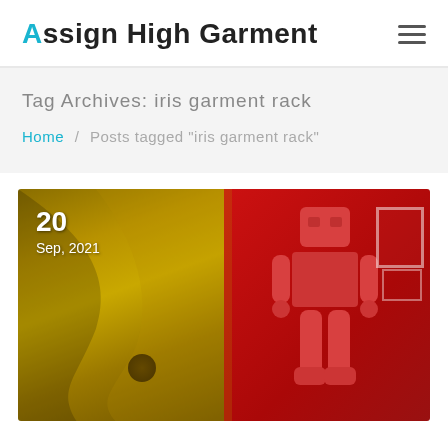Assign High Garment
Tag Archives: iris garment rack
Home / Posts tagged "iris garment rack"
[Figure (photo): Blog post image with date overlay '20 Sep, 2021' showing yellow/gold fabric curtain on the left and a red toy robot figure on the right against a red background]